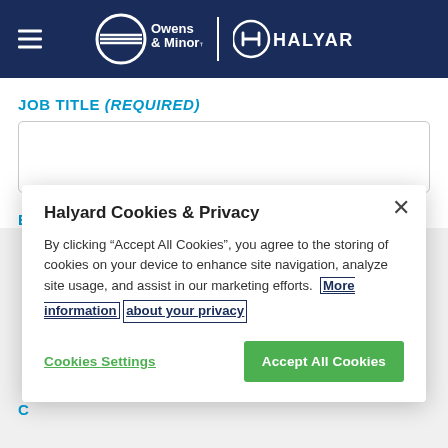[Figure (logo): Owens & Minor and Halyard logos in dark navy header with hamburger menu icon]
JOB TITLE (REQUIRED)
[Figure (screenshot): Empty text input field for Job Title]
EMAIL (REQUIRED)
[Figure (screenshot): Cookie consent modal dialog: title 'Halyard Cookies & Privacy', body text about accepting cookies, with 'More information about your privacy' link, 'Cookies Settings' and 'Accept All Cookies' buttons]